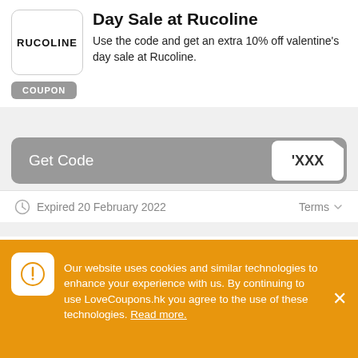[Figure (logo): RUCOLINE brand logo in a rounded rectangle box]
Day Sale at Rucoline
Use the code and get an extra 10% off valentine's day sale at Rucoline.
COUPON
Get Code  'XXX
Expired 20 February 2022
Terms
[Figure (logo): RUCOLINE brand logo in a rounded rectangle box]
Single Day-22% Off Your Order at Rucoline
Use code and get 22% off your order at Rucoline.
COUPON
Our website uses cookies and similar technologies to enhance your experience with us. By continuing to use LoveCoupons.hk you agree to the use of these technologies. Read more.